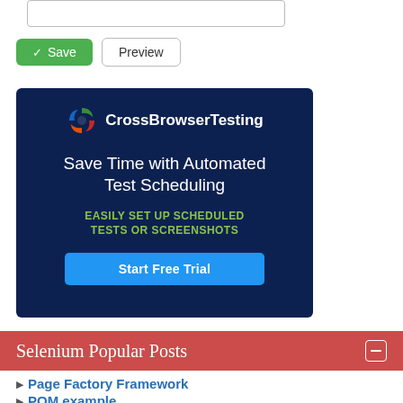[Figure (screenshot): Top portion of a web form with a text input box (partially visible at top)]
[Figure (screenshot): Two buttons: a green 'Save' button with checkmark icon and a white 'Preview' button with border]
[Figure (advertisement): CrossBrowserTesting advertisement banner on dark blue background. Shows CBT logo, tagline 'Save Time with Automated Test Scheduling', subtitle 'EASILY SET UP SCHEDULED TESTS OR SCREENSHOTS', and a 'Start Free Trial' button.]
Selenium Popular Posts
Page Factory Framework
POM example